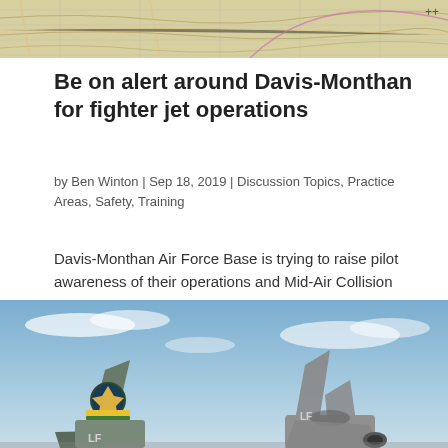[Figure (photo): Aerial navigation/sectional chart map showing airspace around Davis-Monthan area, top-cropped view]
Be on alert around Davis-Monthan for fighter jet operations
by Ben Winton | Sep 18, 2019 | Discussion Topics, Practice Areas, Safety, Training
Davis-Monthan Air Force Base is trying to raise pilot awareness of their operations and Mid-Air Collision Avoidance (MACA) in southern Arizona. Davis-Monthan’s 355th Wing is flying high-speed, aerobatic fighter training missions with multiple aircraft in all...
[Figure (photo): Photo of two military fighter jets (F-35s or similar) on tarmac or in flight, showing tail sections with LF markings and squadron insignia against blue sky]